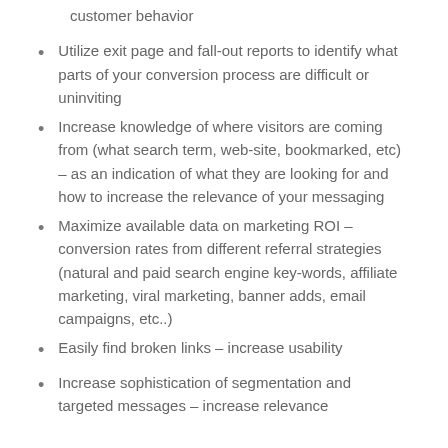customer behavior
Utilize exit page and fall-out reports to identify what parts of your conversion process are difficult or uninviting
Increase knowledge of where visitors are coming from (what search term, web-site, bookmarked, etc) – as an indication of what they are looking for and how to increase the relevance of your messaging
Maximize available data on marketing ROI – conversion rates from different referral strategies (natural and paid search engine key-words, affiliate marketing, viral marketing, banner adds, email campaigns, etc..)
Easily find broken links – increase usability
Increase sophistication of segmentation and targeted messages – increase relevance